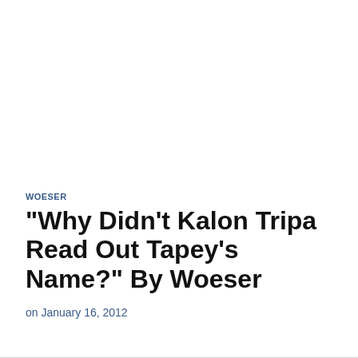WOESER
"Why Didn't Kalon Tripa Read Out Tapey's Name?" By Woeser
on January 16, 2012